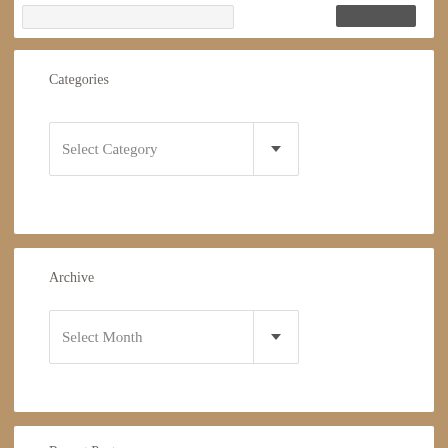[Figure (screenshot): Top partial widget with input bar and dark button]
Categories
[Figure (screenshot): Select Category dropdown widget]
Archive
[Figure (screenshot): Select Month dropdown widget]
Recent Posts
Another ride down August 19, 2022